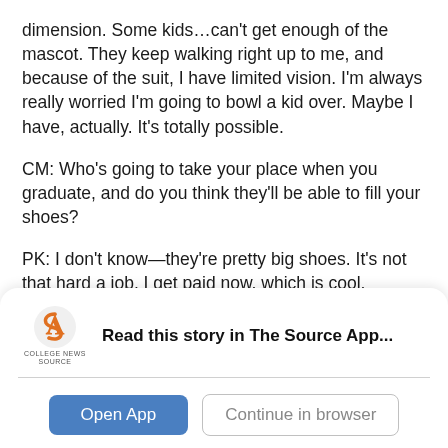dimension. Some kids…can't get enough of the mascot. They keep walking right up to me, and because of the suit, I have limited vision. I'm always really worried I'm going to bowl a kid over. Maybe I have, actually. It's totally possible.
CM: Who's going to take your place when you graduate, and do you think they'll be able to fill your shoes?
PK: I don't know—they're pretty big shoes. It's not that hard a job. I get paid now, which is cool, because I didn't get paid freshman year. And everyone wants to do it. It's pretty much the most glamorous thing you
[Figure (other): College News Source app banner with logo, message 'Read this story in The Source App...', and two buttons: 'Open App' and 'Continue in browser']